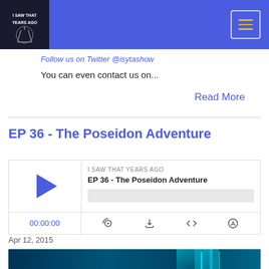I SAW THAT YEARS AGO - navigation header with logo and hamburger menu
Follow us on Twitter @isytashow
You can even contact us on...
Read More
EP 36 - The Poseidon Adventure
[Figure (other): Podcast player widget showing episode EP 36 - The Poseidon Adventure from I SAW THAT YEARS AGO with play button, progress bar, time counter at 00:00:00, and control icons for RSS, download, embed, and sharing]
Apr 12, 2015
[Figure (photo): Partial image of what appears to be a blue-toned underwater or digital themed photo]